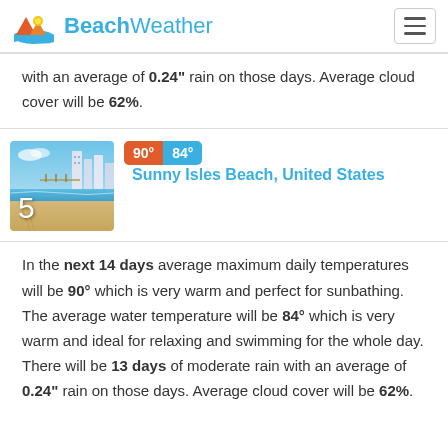BeachWeather
with an average of 0.24" rain on those days. Average cloud cover will be 62%.
[Figure (photo): Beach scene with buildings and pier, ranked #5]
90° 84° Sunny Isles Beach, United States
In the next 14 days average maximum daily temperatures will be 90° which is very warm and perfect for sunbathing. The average water temperature will be 84° which is very warm and ideal for relaxing and swimming for the whole day. There will be 13 days of moderate rain with an average of 0.24" rain on those days. Average cloud cover will be 62%.